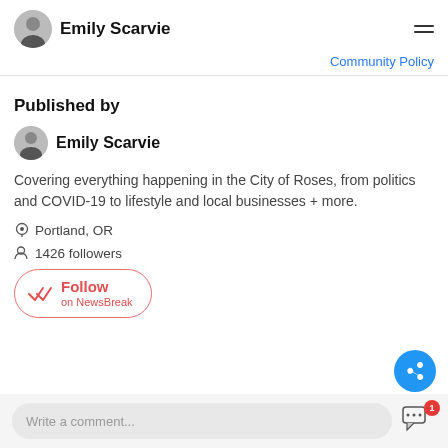Emily Scarvie
Community Policy
Published by
Emily Scarvie
Covering everything happening in the City of Roses, from politics and COVID-19 to lifestyle and local businesses + more.
Portland, OR
1426 followers
Follow on NewsBreak
Write a comment...